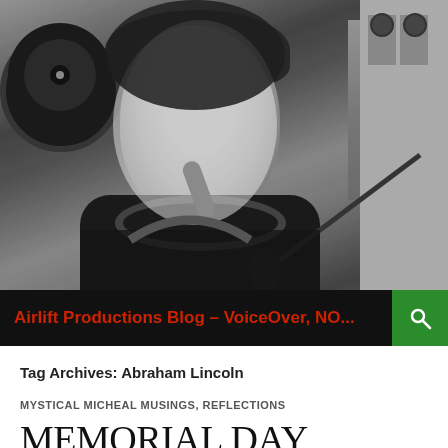[Figure (photo): Black and white photo of a young man smiling at a radio DJ booth, with headphones around his neck, a microphone in front of him, turntable equipment visible on the left and right sides]
Airlift Productions Blog – VoiceOver, NO...
Tag Archives: Abraham Lincoln
MYSTICAL MICHEAL MUSINGS, REFLECTIONS
MEMORIAL DAY MUSINGS ON STRENGTH & HONOR